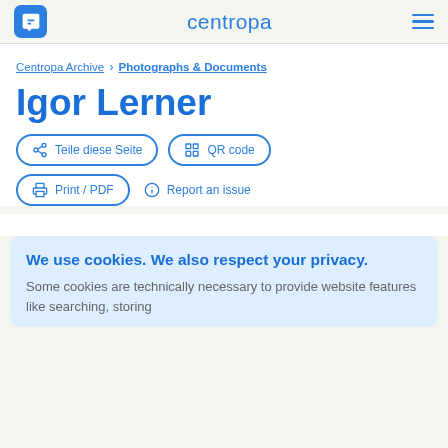centropa
Centropa Archive > Photographs & Documents
Igor Lerner
Teile diese Seite
QR code
Print / PDF
Report an issue
We use cookies. We also respect your privacy.
Some cookies are technically necessary to provide website features like searching, storing